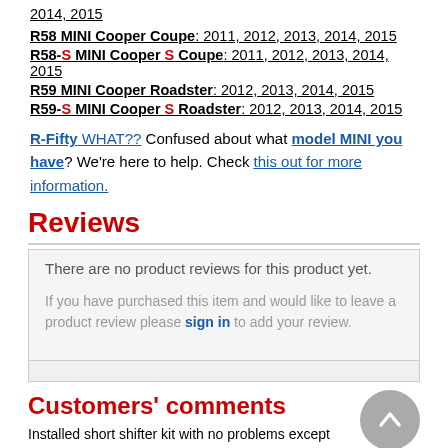2014, 2015
R58 MINI Cooper Coupe: 2011, 2012, 2013, 2014, 2015
R58-S MINI Cooper S Coupe: 2011, 2012, 2013, 2014, 2015
R59 MINI Cooper Roadster: 2012, 2013, 2014, 2015
R59-S MINI Cooper S Roadster: 2012, 2013, 2014, 2015
R-Fifty WHAT?? Confused about what model MINI you have? We're here to help. Check this out for more information.
Reviews
There are no product reviews for this product yet.
If you have purchased this item and would like to leave a product review please sign in to add your review.
Customers' comments
Installed short shifter kit with no problems except kit did not come with 'o' ring for shifter shaft. Factory 'o' ring was too larger off of OEM shift lever. I would also recommend some good